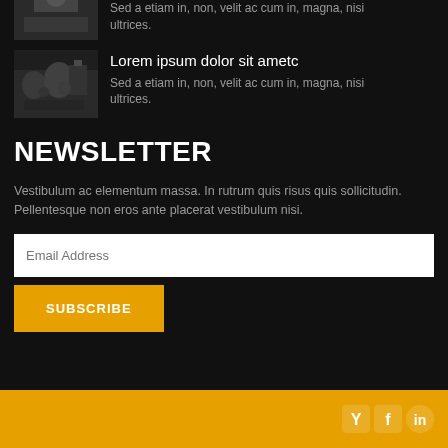Sed a etiam in, non, velit ac cum in, magna, nisi ultrices.
[Figure (photo): Small grayscale thumbnail showing people in a dark setting]
Lorem ipsum dolor sit ametc
Sed a etiam in, non, velit ac cum in, magna, nisi ultrices.
NEWSLETTER
Vestibulum ac elementum massa. In rutrum quis risus quis sollicitudin. Pellentesque non eros ante placerat vestibulum nisi.
Email Address
SUBSCRIBE